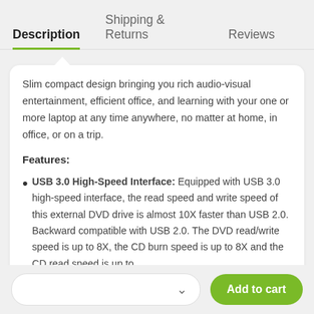Description | Shipping & Returns | Reviews
Slim compact design bringing you rich audio-visual entertainment, efficient office, and learning with your one or more laptop at any time anywhere, no matter at home, in office, or on a trip.
Features:
USB 3.0 High-Speed Interface: Equipped with USB 3.0 high-speed interface, the read speed and write speed of this external DVD drive is almost 10X faster than USB 2.0. Backward compatible with USB 2.0. The DVD read/write speed is up to 8X, the CD burn speed is up to 8X and the CD read speed is up to